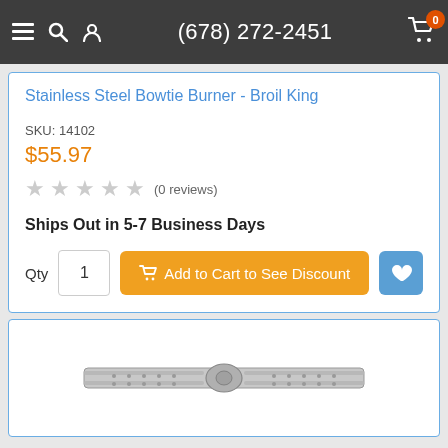(678) 272-2451
Stainless Steel Bowtie Burner - Broil King
SKU: 14102
$55.97
(0 reviews)
Ships Out in 5-7 Business Days
[Figure (screenshot): Bottom portion of a product listing page showing an image card with a stainless steel bowtie burner part]